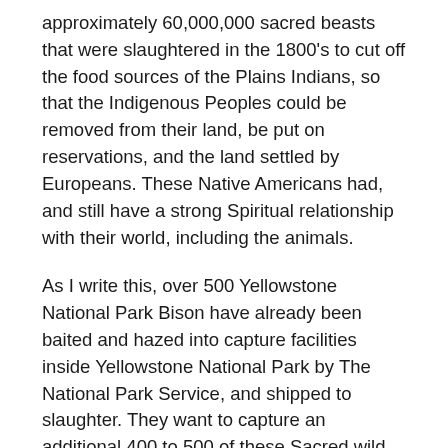approximately 60,000,000 sacred beasts that were slaughtered in the 1800's to cut off the food sources of the Plains Indians, so that the Indigenous Peoples could be removed from their land, be put on reservations, and the land settled by Europeans. These Native Americans had, and still have a strong Spiritual relationship with their world, including the animals.
As I write this, over 500 Yellowstone National Park Bison have already been baited and hazed into capture facilities inside Yellowstone National Park by The National Park Service, and shipped to slaughter. They want to capture an additional 400 to 500 of these Sacred wild animals and also ship them to slaughter. This is in addition to the regular hunting season kills and Treaty Hunts. I have already shed my tears for them today. Buffalo Field Campaign needs volunteers to come to West Yellowstone to help to stop this slaughter, as well as to